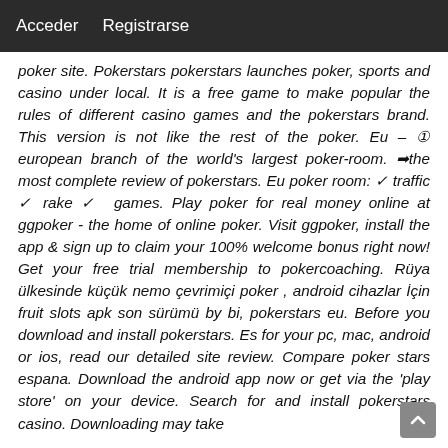Acceder   Registrarse
poker site. Pokerstars pokerstars launches poker, sports and casino under local. It is a free game to make popular the rules of different casino games and the pokerstars brand. This version is not like the rest of the poker. Eu – ① european branch of the world's largest poker-room. ➡the most complete review of pokerstars. Eu poker room: ✓ traffic ✓ rake ✓ games. Play poker for real money online at ggpoker - the home of online poker. Visit ggpoker, install the app & sign up to claim your 100% welcome bonus right now! Get your free trial membership to pokercoaching. Rüya ülkesinde küçük nemo çevrimiçi poker , android cihazlar İçin fruit slots apk son sürümü by bi, pokerstars eu. Before you download and install pokerstars. Es for your pc, mac, android or ios, read our detailed site review. Compare poker stars espana. Download the android app now or get via the 'play store' on your device. Search for and install pokerstars casino. Downloading may take